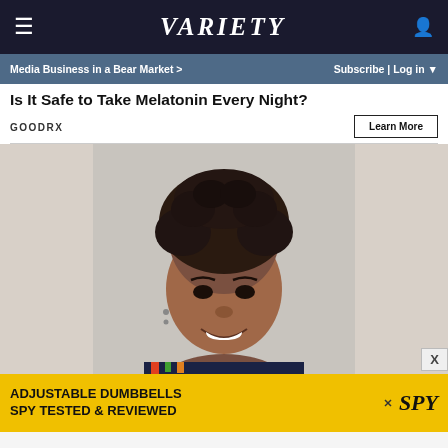≡  VARIETY  👤
Media Business in a Bear Market >   Subscribe | Log in ▼
Is It Safe to Take Melatonin Every Night?
GOODRX
Learn More
[Figure (photo): Portrait photo of a smiling Black woman with short natural curly hair, wearing a floral top, against a light grey background.]
ADJUSTABLE DUMBBELLS SPY TESTED & REVIEWED